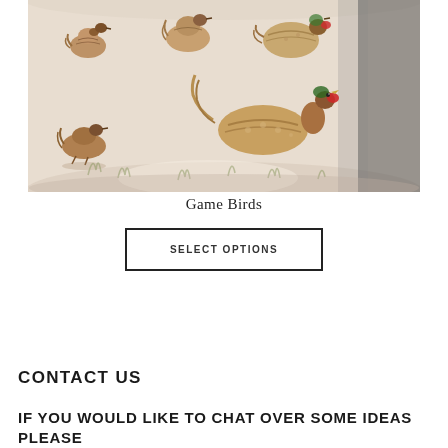[Figure (photo): A cylindrical lampshade with a light-coloured fabric printed with watercolour-style illustrations of game birds including pheasants, partridges, and other upland birds in natural browns and greens. A dark hand or sleeve is partially visible at the right edge.]
Game Birds
SELECT OPTIONS
CONTACT US
IF YOU WOULD LIKE TO CHAT OVER SOME IDEAS PLEASE